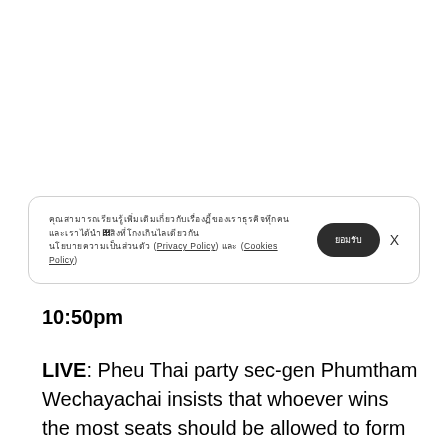Thai text cookie consent notice referencing Privacy Policy and Cookies Policy
10:50pm
LIVE: Pheu Thai party sec-gen Phumtham Wechayachai insists that whoever wins the most seats should be allowed to form a government in brief comments delivered from party headquarters in the few 11...